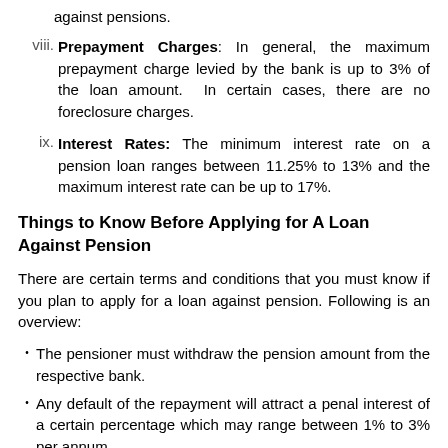against pensions.
viii. Prepayment Charges: In general, the maximum prepayment charge levied by the bank is up to 3% of the loan amount. In certain cases, there are no foreclosure charges.
ix. Interest Rates: The minimum interest rate on a pension loan ranges between 11.25% to 13% and the maximum interest rate can be up to 17%.
Things to Know Before Applying for A Loan Against Pension
There are certain terms and conditions that you must know if you plan to apply for a loan against pension. Following is an overview:
The pensioner must withdraw the pension amount from the respective bank.
Any default of the repayment will attract a penal interest of a certain percentage which may range between 1% to 3% per annum.
The pension amount of the Government